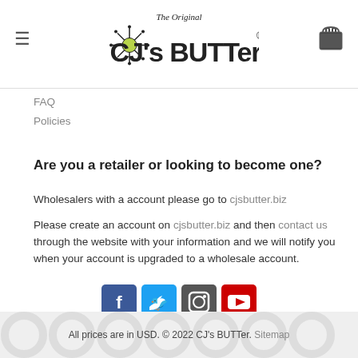The Original CJ's BUTTer®
FAQ
Policies
Are you a retailer or looking to become one?
Wholesalers with a account please go to cjsbutter.biz
Please create an account on cjsbutter.biz and then contact us through the website with your information and we will notify you when your account is upgraded to a wholesale account.
[Figure (other): Social media icons: Facebook, Twitter, Instagram, YouTube]
All prices are in USD. © 2022 CJ's BUTTer. Sitemap